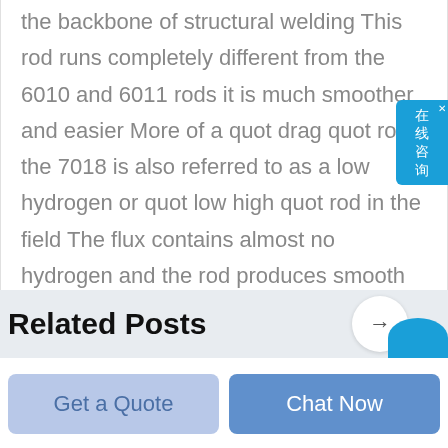the backbone of structural welding This rod runs completely different from the 6010 and 6011 rods it is much smoother and easier More of a quot drag quot rod the 7018 is also referred to as a low hydrogen or quot low high quot rod in the field The flux contains almost no hydrogen and the rod produces smooth strong welds that are very ductile
Related Posts
Get a Quote
Chat Now